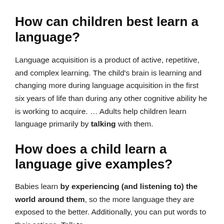How can children best learn a language?
Language acquisition is a product of active, repetitive, and complex learning. The child's brain is learning and changing more during language acquisition in the first six years of life than during any other cognitive ability he is working to acquire. … Adults help children learn language primarily by talking with them.
How does a child learn a language give examples?
Babies learn by experiencing (and listening to) the world around them, so the more language they are exposed to the better. Additionally, you can put words to their actions. Talk to